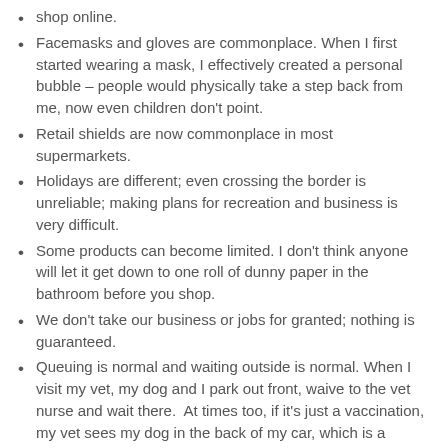shop online.
Facemasks and gloves are commonplace. When I first started wearing a mask, I effectively created a personal bubble – people would physically take a step back from me, now even children don't point.
Retail shields are now commonplace in most supermarkets.
Holidays are different; even crossing the border is unreliable; making plans for recreation and business is very difficult.
Some products can become limited. I don't think anyone will let it get down to one roll of dunny paper in the bathroom before you shop.
We don't take our business or jobs for granted; nothing is guaranteed.
Queuing is normal and waiting outside is normal. When I visit my vet, my dog and I park out front, waive to the vet nurse and wait there.  At times too, if it's just a vaccination, my vet sees my dog in the back of my car, which is a hatch.
We cough or sneeze and we are looked at like we might have the plague.